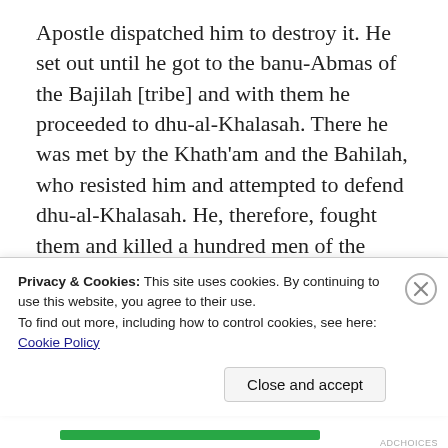Apostle dispatched him to destroy it. He set out until he got to the banu-Abmas of the Bajilah [tribe] and with them he proceeded to dhu-al-Khalasah. There he was met by the Khath'am and the Bahilah, who resisted him and attempted to defend dhu-al-Khalasah. He, therefore, fought them and killed a hundred men of the Bahilah, its custodians, and many of the Khath'am; while of the banu-Qubafah ibn-'Amir ibn-Khath'am he killed two hundred.
Privacy & Cookies: This site uses cookies. By continuing to use this website, you agree to their use.
To find out more, including how to control cookies, see here: Cookie Policy
Close and accept